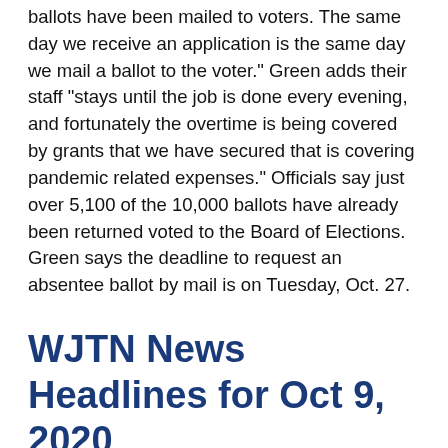ballots have been mailed to voters. The same day we receive an application is the same day we mail a ballot to the voter." Green adds their staff "stays until the job is done every evening, and fortunately the overtime is being covered by grants that we have secured that is covering pandemic related expenses." Officials say just over 5,100 of the 10,000 ballots have already been returned voted to the Board of Elections. Green says the deadline to request an absentee ballot by mail is on Tuesday, Oct. 27.
WJTN News Headlines for Oct 9, 2020
Posted About Two Years Ago
A city man is jailed after allegedly threatening a woman and an 11 year-old child Wednesday night on